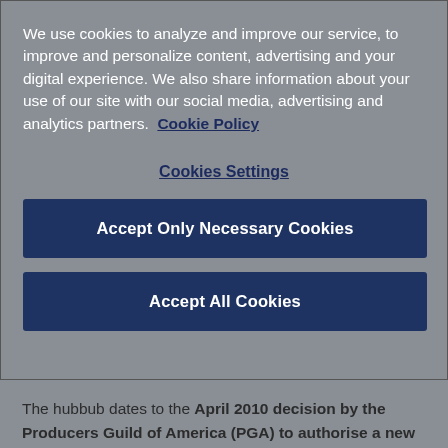We use cookies to analyze and improve our service, to improve and personalize content, advertising and your digital experience. We also share information about your use of our site with our social media, advertising and analytics partners.  Cookie Policy
Cookies Settings
Accept Only Necessary Cookies
Accept All Cookies
The hubbub dates to the April 2010 decision by the Producers Guild of America (PGA) to authorise a new credit – "Transmedia Producer." This credit was drafted primarily by Jeff Gomez, CEO of New York-based transmedia consulting firm Starlight Runner